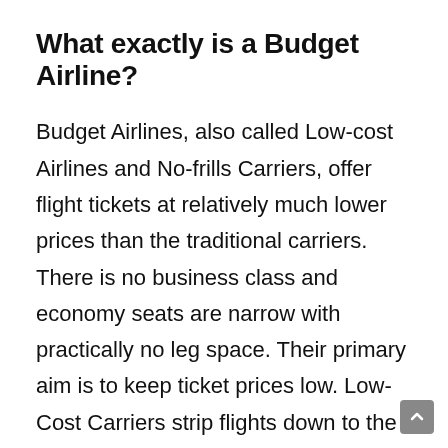What exactly is a Budget Airline?
Budget Airlines, also called Low-cost Airlines and No-frills Carriers, offer flight tickets at relatively much lower prices than the traditional carriers.  There is no business class and economy seats are narrow with practically no leg space. Their primary aim is to keep ticket prices low. Low-Cost Carriers strip flights down to the basics and upsell several extras – meals, pre-assigned seats, inflight...